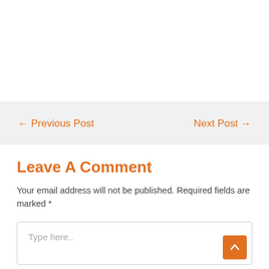← Previous Post
Next Post →
Leave A Comment
Your email address will not be published. Required fields are marked *
Type here..